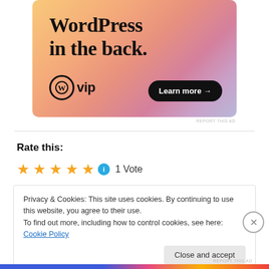[Figure (illustration): WordPress VIP advertisement banner with colorful gradient background (peach, salmon, mauve, lavender). Large bold text reads 'WordPress in the back.' with WordPress VIP logo (W circle) and 'Learn more →' button on dark pill.]
REPORT THIS AD
Rate this:
[Figure (other): Five gold star rating icons followed by a teal info circle icon and text '1 Vote']
Privacy & Cookies: This site uses cookies. By continuing to use this website, you agree to their use.
To find out more, including how to control cookies, see here: Cookie Policy
Close and accept